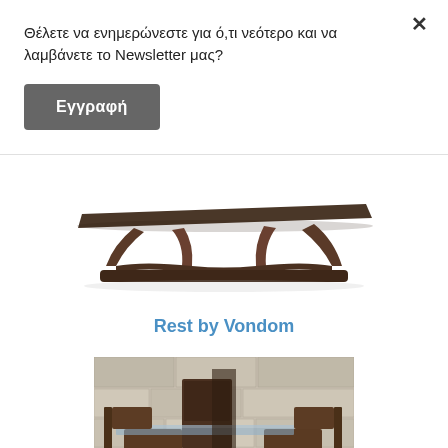Θέλετε να ενημερώνεστε για ό,τι νεότερο και να λαμβάνετε το Newsletter μας?
Εγγραφή
[Figure (photo): A dark brown modern dining table with sculpted hourglass-shaped base, viewed from the side on white background]
Rest by Vondom
[Figure (photo): Dark wood furniture set with chairs and glass coffee table against a stone wall background]